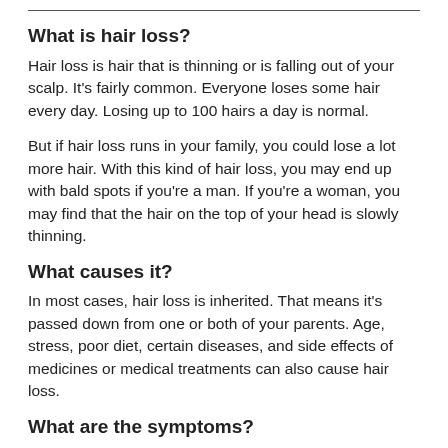What is hair loss?
Hair loss is hair that is thinning or is falling out of your scalp. It's fairly common. Everyone loses some hair every day. Losing up to 100 hairs a day is normal.
But if hair loss runs in your family, you could lose a lot more hair. With this kind of hair loss, you may end up with bald spots if you're a man. If you're a woman, you may find that the hair on the top of your head is slowly thinning.
What causes it?
In most cases, hair loss is inherited. That means it's passed down from one or both of your parents. Age, stress, poor diet, certain diseases, and side effects of medicines or medical treatments can also cause hair loss.
What are the symptoms?
Your symptoms will depend on what kind of hair loss you have. If your hair is thinning, you may not notice the hairs falling out. If your